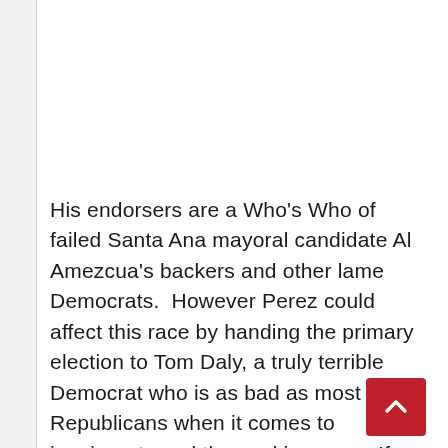His endorsers are a Who's Who of failed Santa Ana mayoral candidate Al Amezcua's backers and other lame Democrats.  However Perez could affect this race by handing the primary election to Tom Daly, a truly terrible Democrat who is as bad as most Republicans when it comes to immigrants and the working poor.  If Perez takes enough Latino votes from